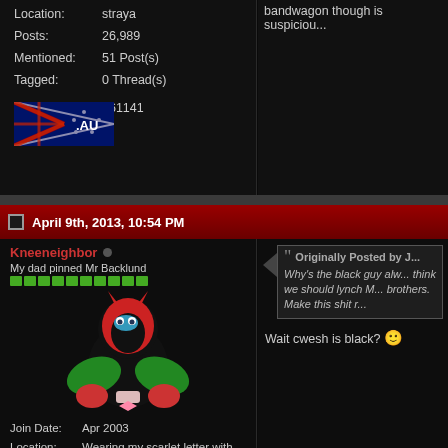Location: straya
Posts: 26,989
Mentioned: 51 Post(s)
Tagged: 0 Thread(s)
Rep Power: 261141
[Figure (illustration): Australian .AU flag/domain badge]
bandwagon though is suspiciou...
April 9th, 2013, 10:54 PM
Kneeneighbor
My dad pinned Mr Backlund
[Figure (illustration): Forum user avatar: cartoon superhero character with red mask and green cape on black background]
Join Date: Apr 2003
Location: Wearing my scarlet letter with pride
Posts: 15,672
Originally Posted by J...
Why's the black guy alw... think we should lynch M... brothers. Make this shit r...
Wait cwesh is black? 🙂